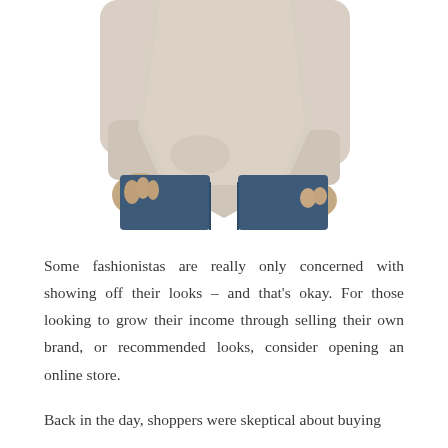[Figure (photo): Cropped photo of a person wearing a beige/oatmeal asymmetric hem sweater with long sleeves and dark blue jeans, shown from approximately the chest down to mid-thigh, white background.]
Some fashionistas are really only concerned with showing off their looks – and that's okay. For those looking to grow their income through selling their own brand, or recommended looks, consider opening an online store.
Back in the day, shoppers were skeptical about buying